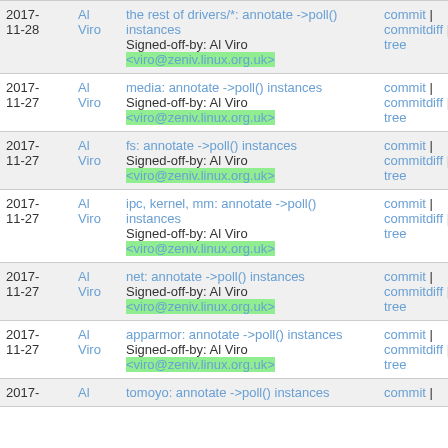| Date | Author | Message | Links |
| --- | --- | --- | --- |
| 2017-11-28 | Al Viro | the rest of drivers/*: annotate ->poll() instances
Signed-off-by: Al Viro <viro@zeniv.linux.org.uk> | commit | commitdiff | tree |
| 2017-11-27 | Al Viro | media: annotate ->poll() instances
Signed-off-by: Al Viro <viro@zeniv.linux.org.uk> | commit | commitdiff | tree |
| 2017-11-27 | Al Viro | fs: annotate ->poll() instances
Signed-off-by: Al Viro <viro@zeniv.linux.org.uk> | commit | commitdiff | tree |
| 2017-11-27 | Al Viro | ipc, kernel, mm: annotate ->poll() instances
Signed-off-by: Al Viro <viro@zeniv.linux.org.uk> | commit | commitdiff | tree |
| 2017-11-27 | Al Viro | net: annotate ->poll() instances
Signed-off-by: Al Viro <viro@zeniv.linux.org.uk> | commit | commitdiff | tree |
| 2017-11-27 | Al Viro | apparmor: annotate ->poll() instances
Signed-off-by: Al Viro <viro@zeniv.linux.org.uk> | commit | commitdiff | tree |
| 2017- | Al | tomoyo: annotate ->poll() instances | commit | |